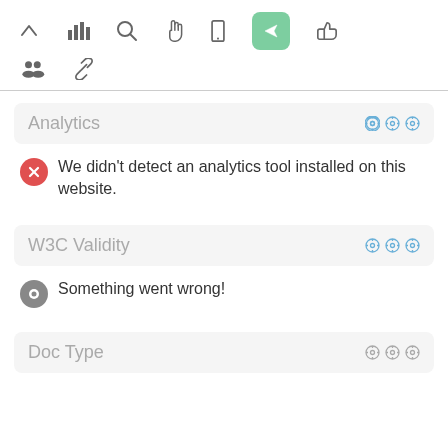[Figure (screenshot): Toolbar with icons: up arrow, bar chart, search, hand/pointer, mobile, green highlighted send arrow, thumbs up]
[Figure (screenshot): Second toolbar row with group/people icon and chain-link icon]
Analytics
We didn't detect an analytics tool installed on this website.
W3C Validity
Something went wrong!
Doc Type